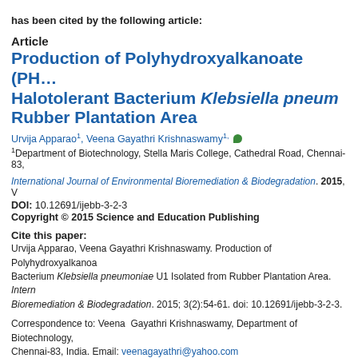has been cited by the following article:
Article
Production of Polyhydroxyalkanoate (PHA) by a Halotolerant Bacterium Klebsiella pneumoniae U1 Isolated from Rubber Plantation Area
Urvija Apparao1, Veena Gayathri Krishnaswamy1
1Department of Biotechnology, Stella Maris College, Cathedral Road, Chennai-83,
International Journal of Environmental Bioremediation & Biodegradation. 2015, V
DOI: 10.12691/ijebb-3-2-3
Copyright © 2015 Science and Education Publishing
Cite this paper:
Urvija Apparao, Veena Gayathri Krishnaswamy. Production of Polyhydroxyalkanoate Bacterium Klebsiella pneumoniae U1 Isolated from Rubber Plantation Area. International Journal of Environmental Bioremediation & Biodegradation. 2015; 3(2):54-61. doi: 10.12691/ijebb-3-2-3.
Correspondence to: Veena Gayathri Krishnaswamy, Department of Biotechnology, Chennai-83, India. Email: veenagayathri@yahoo.com
Abstract
Polyhydroxyalkanoates (PHAs) are polymers which are produced and degraded by similar to polypropylene, which is a commonly used petrochemical-based plastic. I strains were isolated from rubber plantation area, of which only one isolate (U1) w